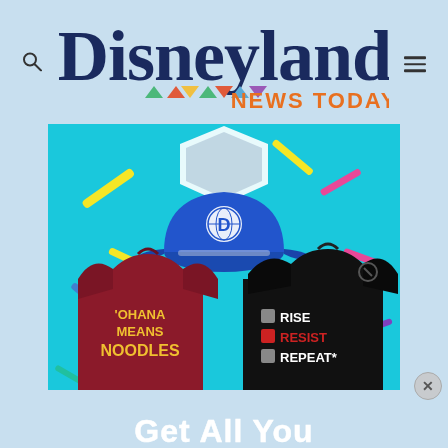[Figure (logo): Disneyland News Today logo with colorful geometric shapes beneath the word 'Disneyland' and 'NEWS TODAY' in orange text]
[Figure (photo): Disneyland merchandise products on a bright blue background: a blue baseball cap with a globe-D logo, a dark red t-shirt reading 'OHANA MEANS NOODLES', and a black t-shirt reading 'RISE RESIST REPEAT*' with Star Wars Galaxy's Edge icons]
Get All Your